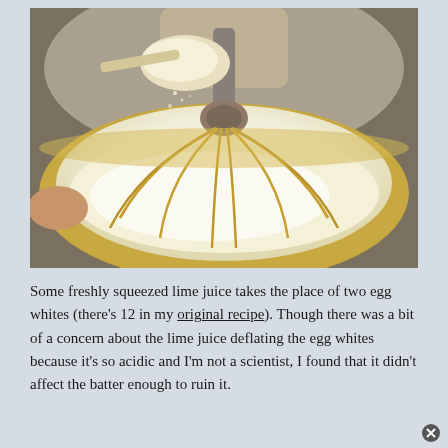[Figure (photo): Close-up photo of a stand mixer whisk attachment in a metal bowl, with someone pouring sugar from a measuring spoon into the bowl containing white egg whites or meringue mixture.]
Some freshly squeezed lime juice takes the place of two egg whites (there’s 12 in my original recipe). Though there was a bit of a concern about the lime juice deflating the egg whites because it’s so acidic and I’m not a scientist, I found that it didn’t affect the batter enough to ruin it.